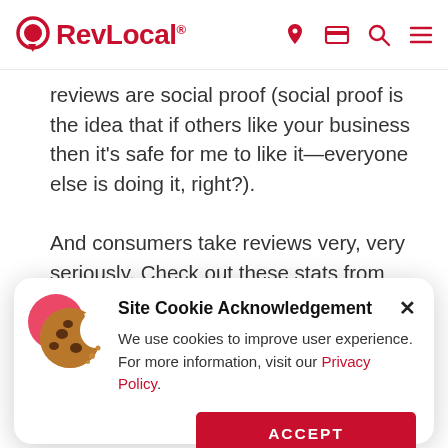RevLocal®
reviews are social proof (social proof is the idea that if others like your business then it's safe for me to like it—everyone else is doing it, right?).
And consumers take reviews very, very seriously. Check out these stats from
[Figure (screenshot): Site Cookie Acknowledgement modal with cookie icon, close button, body text about cookies and Privacy Policy link, and ACCEPT button]
29 percent will do so within a day